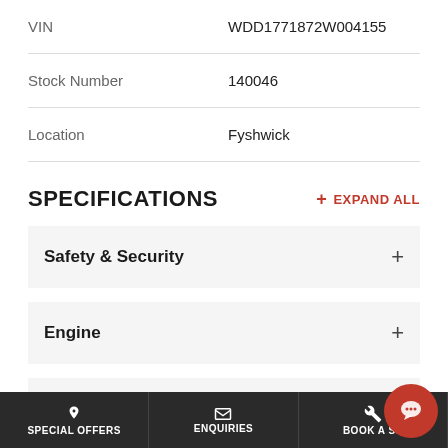| Field | Value |
| --- | --- |
| VIN | WDD1771872W004155 |
| Stock Number | 140046 |
| Location | Fyshwick |
SPECIFICATIONS
EXPAND ALL
Safety & Security +
Engine +
Transmission & Drivetrain +
SPECIAL OFFERS   ENQUIRIES   BOOK A S...